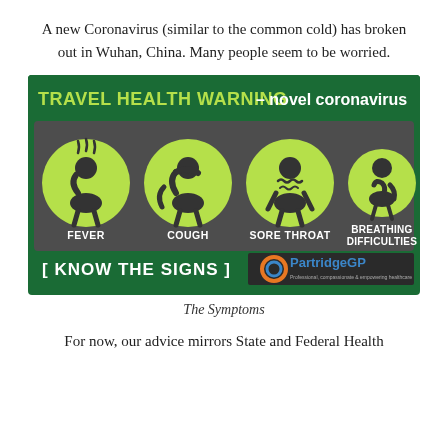A new Coronavirus (similar to the common cold) has broken out in Wuhan, China. Many people seem to be worried.
[Figure (infographic): Travel Health Warning - novel coronavirus infographic showing four symptoms: Fever (person with steam/heat waves), Cough (person sneezing into arm), Sore Throat (person with wavy lines at throat), Breathing Difficulties (person holding chest). Bottom text reads 'KNOW THE SIGNS'. PartridgeGP logo bottom right. Green and dark background.]
The Symptoms
For now, our advice mirrors State and Federal Health